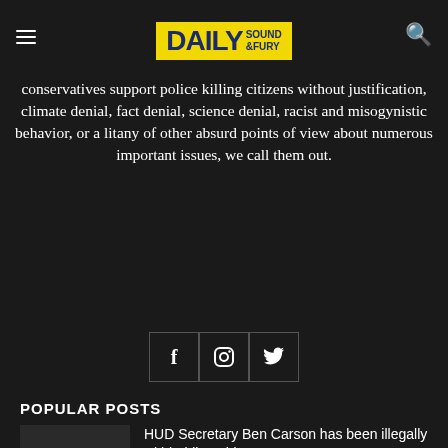Daily Sound & Fury
conservatives support police killing citizens without justification, climate denial, fact denial, science denial, racist and misogynistic behavior, or a litany of other absurd points of view about numerous important issues, we call them out.
[Figure (other): Social media icons: Facebook, Instagram, Twitter in bordered boxes]
POPULAR POSTS
HUD Secretary Ben Carson has been illegally withholding aid to Puerto...
December 8, 2019
PBS reporter calls Trump a liar to his face